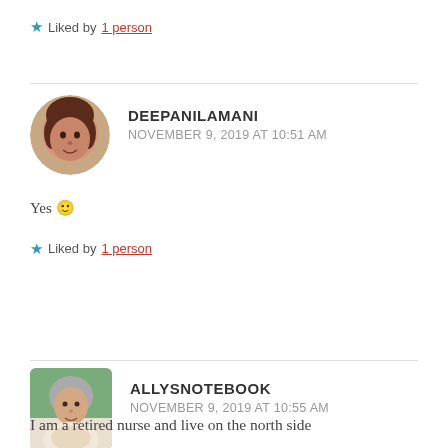★ Liked by 1 person
[Figure (photo): Circular avatar photo of Deepanilamani, a woman with short reddish-brown hair]
DEEPANILAMANI
NOVEMBER 9, 2019 AT 10:51 AM
Yes 🙂
★ Liked by 1 person
[Figure (photo): Rectangular avatar photo of Allysnotebook, an older woman with gray hair]
ALLYSNOTEBOOK
NOVEMBER 9, 2019 AT 10:55 AM
I am a retired nurse and live on the north side